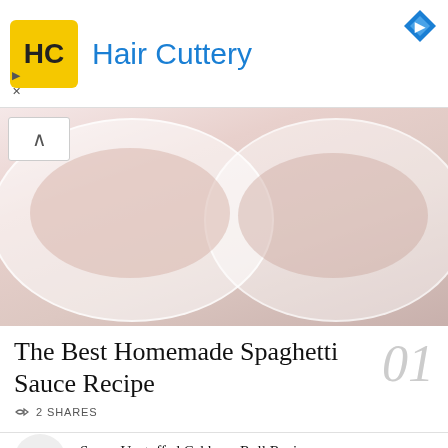[Figure (photo): Hair Cuttery advertisement banner with yellow logo, brand name in blue, and a blue diamond icon in the top right corner.]
[Figure (photo): Two white bowls of spaghetti with meat sauce seen from above on a dark background, faded/washed out appearance.]
The Best Homemade Spaghetti Sauce Recipe
2 SHARES
01
Saucy Unstuffed Cabbage Roll Recipe
18 SHARES
02